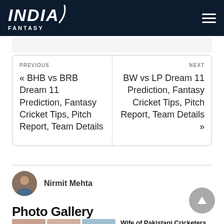INDIA FANTASY
PREVIOUS
« BHB vs BRB Dream 11 Prediction, Fantasy Cricket Tips, Pitch Report, Team Details
NEXT
BW vs LP Dream 11 Prediction, Fantasy Cricket Tips, Pitch Report, Team Details »
Nirmit Mehta
Photo Gallery
Wife of Pakistani Cricketers and their